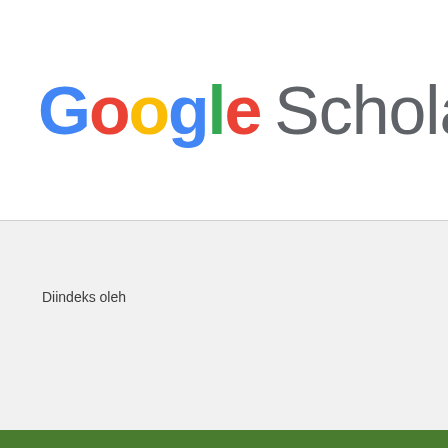[Figure (logo): Google Scholar logo with colorful Google wordmark and gray Scholar text]
Diindeks oleh